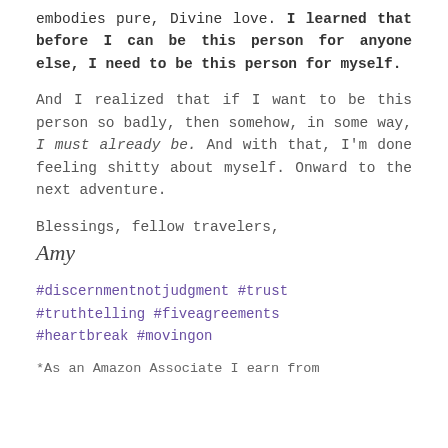embodies pure, Divine love. I learned that before I can be this person for anyone else, I need to be this person for myself.
And I realized that if I want to be this person so badly, then somehow, in some way, I must already be. And with that, I'm done feeling shitty about myself. Onward to the next adventure.
Blessings, fellow travelers,
Amy
#discernmentnotjudgment #trust #truthtelling #fiveagreements #heartbreak #movingon
*As an Amazon Associate I earn from